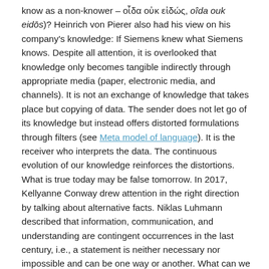know as a non-knower – οἶδα οὐκ εἰδώς, oîda ouk eidōs)? Heinrich von Pierer also had his view on his company's knowledge: If Siemens knew what Siemens knows. Despite all attention, it is overlooked that knowledge only becomes tangible indirectly through appropriate media (paper, electronic media, and channels). It is not an exchange of knowledge that takes place but copying of data. The sender does not let go of its knowledge but instead offers distorted formulations through filters (see Meta model of language). It is the receiver who interprets the data. The continuous evolution of our knowledge reinforces the distortions. What is true today may be false tomorrow. In 2017, Kellyanne Conway drew attention in the right direction by talking about alternative facts. Niklas Luhmann described that information, communication, and understanding are contingent occurrences in the last century, i.e., a statement is neither necessary nor impossible and can be one way or another. What can we still know today with this insight?